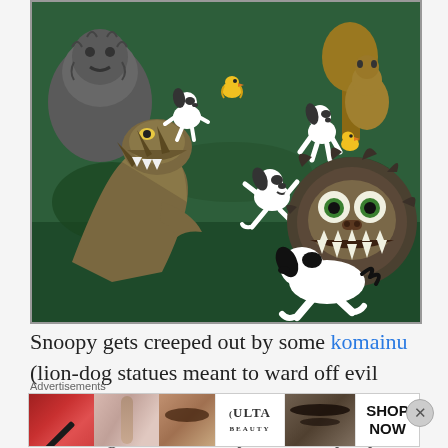[Figure (illustration): Illustrated cartoon scene showing Snoopy characters (Snoopy and Woodstock) interacting with various Japanese mythological creatures on a green background, including komainu lion-dog statues, a large Godzilla-like creature, and a Barong/demon face creature with sharp teeth.]
Snoopy gets creeped out by some komainu (lion-dog statues meant to ward off evil spirits), pays his respects to Hachiko (an Akita dog who famously waited loyally for his...
Advertisements
[Figure (infographic): ULTA Beauty advertisement banner showing close-up beauty images (lips with makeup, makeup brush, eye close-up) alongside the ULTA logo and 'SHOP NOW' call to action.]